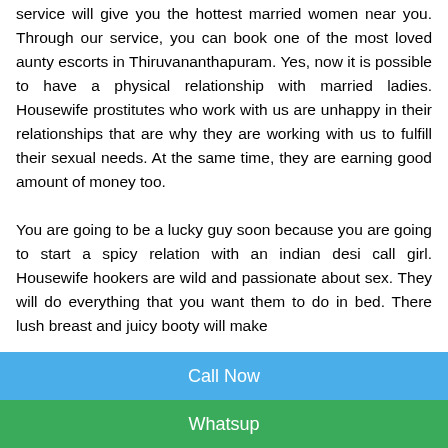service will give you the hottest married women near you. Through our service, you can book one of the most loved aunty escorts in Thiruvananthapuram. Yes, now it is possible to have a physical relationship with married ladies. Housewife prostitutes who work with us are unhappy in their relationships that are why they are working with us to fulfill their sexual needs. At the same time, they are earning good amount of money too.
You are going to be a lucky guy soon because you are going to start a spicy relation with an indian desi call girl. Housewife hookers are wild and passionate about sex. They will do everything that you want them to do in bed. There lush breast and juicy booty will make
Call Now
Whatsup